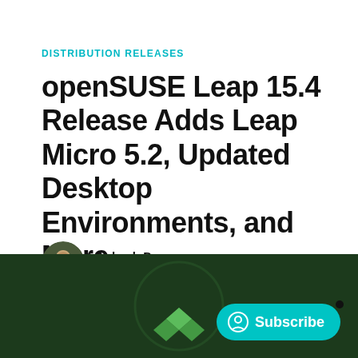DISTRIBUTION RELEASES
openSUSE Leap 15.4 Release Adds Leap Micro 5.2, Updated Desktop Environments, and More
Ankush Das
Jun 9, 2022 · 2 min
[Figure (photo): Dark green banner image with openSUSE logo (diamond shapes) visible at bottom center, and a teal Subscribe button with user icon on the right side]